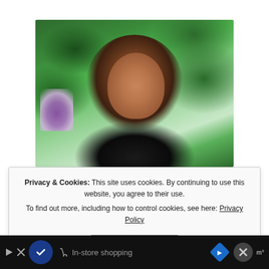[Figure (photo): Outdoor photo of a middle-aged woman with long brown/gray hair, smiling, against a green leafy background with purple flowers visible on the left side.]
Privacy & Cookies: This site uses cookies. By continuing to use this website, you agree to their use.
To find out more, including how to control cookies, see here: Privacy Policy
Close and accept
In-store shopping